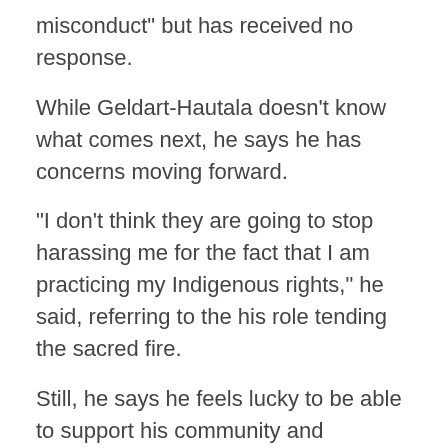misconduct" but has received no response.
While Geldart-Hautala doesn't know what comes next, he says he has concerns moving forward.
"I don't think they are going to stop harassing me for the fact that I am practicing my Indigenous rights," he said, referring to the his role tending the sacred fire.
Still, he says he feels lucky to be able to support his community and continue his fight to remain in his home.
“I am lucky enough to be here today,” he said at Wednesday’s press conference.
“I am lucky enough to be here to fight for [my